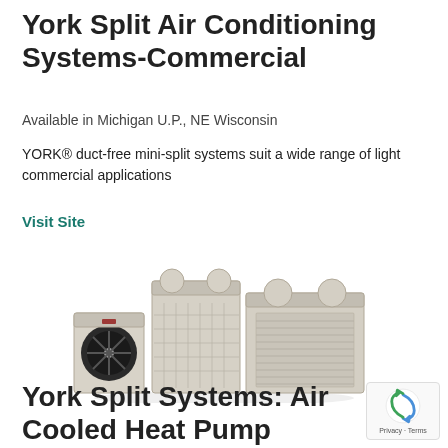York Split Air Conditioning Systems-Commercial
Available in Michigan U.P., NE Wisconsin
YORK® duct-free mini-split systems suit a wide range of light commercial applications
Visit Site
[Figure (photo): Commercial York split air conditioning outdoor units — multiple condensing units of varying sizes grouped together, beige/cream colored with fan and condenser grilles visible]
York Split Systems: Air Cooled Heat Pump Systems